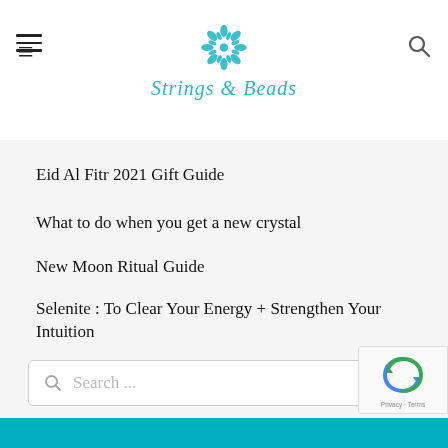Strings & Beads
Eid Al Fitr 2021 Gift Guide
What to do when you get a new crystal
New Moon Ritual Guide
Selenite : To Clear Your Energy + Strengthen Your Intuition
Crystals for Protection
Search ...
Privacy · Terms